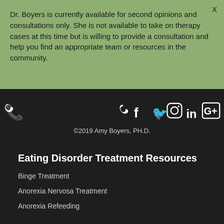Dr. Boyers is currently available for second opinions and consultations only. She is not available to take on therapy cases at this time but is willing to provide a consultation and help you find an appropriate team or resources in the community.
[Figure (infographic): Row of social media icons: phone, Facebook, Twitter, Instagram, LinkedIn, Google+]
©2019 Amy Boyers, PH.D.
Eating Disorder Treatment Resources
Binge Treatment
Anorexia Nervosa Treatment
Anorexia Refeeding